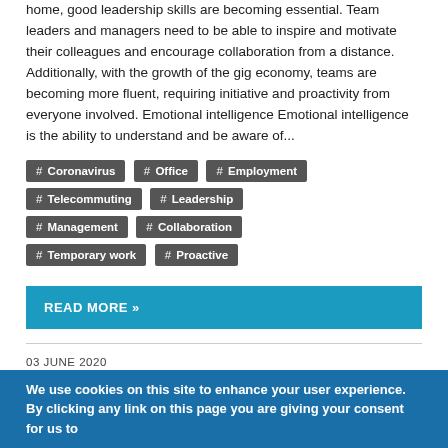home, good leadership skills are becoming essential. Team leaders and managers need to be able to inspire and motivate their colleagues and encourage collaboration from a distance. Additionally, with the growth of the gig economy, teams are becoming more fluent, requiring initiative and proactivity from everyone involved. Emotional intelligence Emotional intelligence is the ability to understand and be aware of...
# Coronavirus
# Office
# Employment
# Telecommuting
# Leadership
# Management
# Collaboration
# Temporary work
# Proactive
READ MORE »
03 JUNE 2020
Tips for adapting your job search post COVID-19
(From ec.europa.eu ) The world of job-hunting is no different. As
We use cookies on this site to enhance your user experience. By clicking any link on this page you are giving your consent for us to